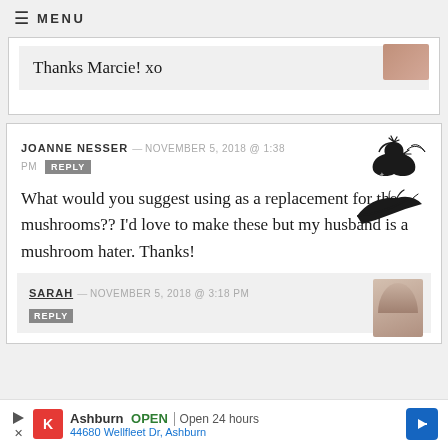≡ MENU
Thanks Marcie! xo
JOANNE NESSER — NOVEMBER 5, 2018 @ 1:38 PM REPLY
What would you suggest using as a replacement for the mushrooms?? I'd love to make these but my husband is a mushroom hater. Thanks!
SARAH — NOVEMBER 5, 2018 @ 3:18 PM REPLY
Ashburn OPEN | Open 24 hours 44680 Wellfleet Dr, Ashburn